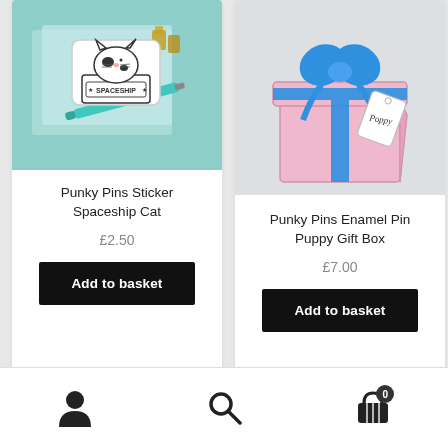[Figure (photo): Product photo of Punky Pins Spaceship Cat sticker on a teal/mint background with binder clips and a pen]
Punky Pins Sticker Spaceship Cat
£2.50
Add to basket
[Figure (photo): Product photo of Punky Pins Enamel Pin Puppy Gift Box — pink box with blue ribbon and a tag reading 'Poppy']
Punky Pins Enamel Pin Puppy Gift Box
£7.00
Add to basket
Navigation bar with person icon, search icon, and basket icon with badge showing 0